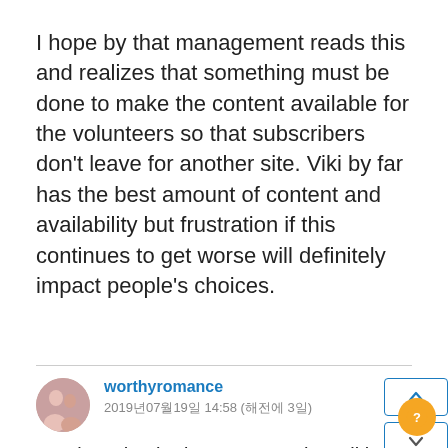I hope by that management reads this and realizes that something must be done to make the content available for the volunteers so that subscribers don't leave for another site. Viki by far has the best amount of content and availability but frustration if this continues to get worse will definitely impact people's choices.
worthyromance
2019년07월19일 14:58 (해전에 3일)
So I just checked out Kocowa but Viki does way have more content. Viki does have much more Asian dramas than Netflix that I want to watch as I've watched all the ones I like there, so I'm staying with Viki. I want to be part of the SOLUTION. What would it take? Is it more